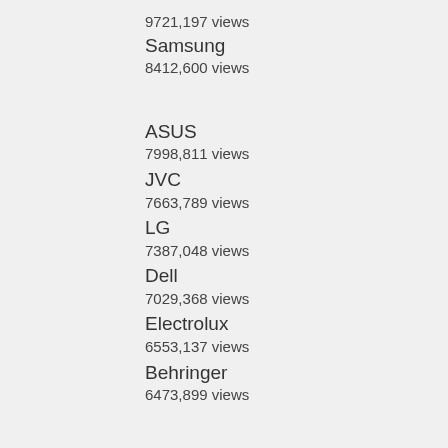9721,197 views
Samsung
8412,600 views
ASUS
7998,811 views
JVC
7663,789 views
LG
7387,048 views
Dell
7029,368 views
Electrolux
6553,137 views
Behringer
6473,899 views